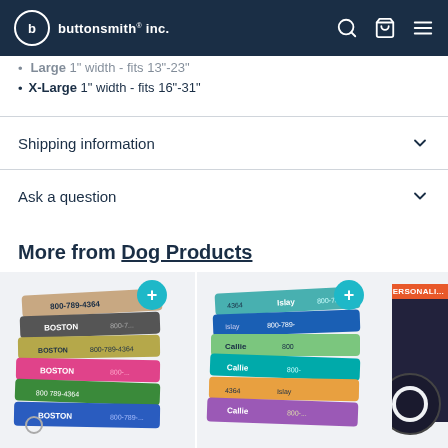buttonsmith® inc.
Large 1" width - fits 13"-23"
X-Large 1" width - fits 16"-31"
Shipping information
Ask a question
More from Dog Products
[Figure (photo): Stack of personalized dog collars with phone number 800-789-4364 and name BOSTON printed on them]
[Figure (photo): Stack of colorful floral personalized dog collars with names Islay and Callie and phone number 800-789- printed on them]
[Figure (photo): Dark dog collar product partially visible with chat bubble overlay]